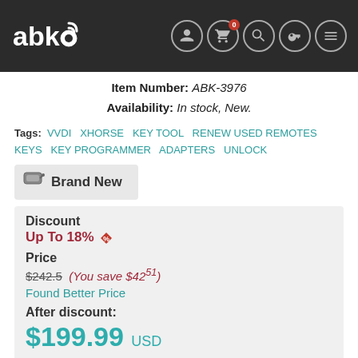abk (logo) — navigation icons: user, cart (0), search, key, menu
Item Number: ABK-3976
Availability: In stock, New.
Tags: VVDI  XHORSE  KEY TOOL  RENEW USED REMOTES KEYS  KEY PROGRAMMER  ADAPTERS  UNLOCK
Brand New
Discount
Up To 18%
Price
$242.5 (You save $42.51)
Found Better Price
After discount:
$199.99 USD